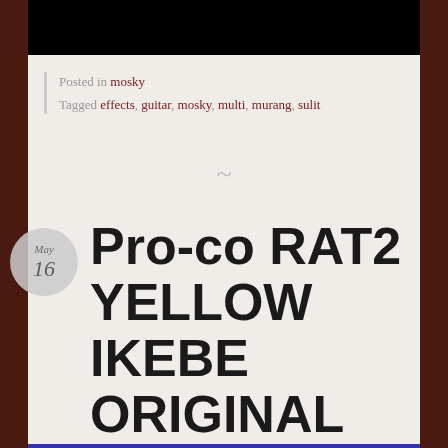[Figure (photo): Black rectangular image bar at the top of the page]
Posted in mosky
Tagged effects, guitar, mosky, multi, murang, sulit
~
Pro-co RAT2 YELLOW IKEBE ORIGINAL MODEL NEW Distortion Guitar Effects NEW